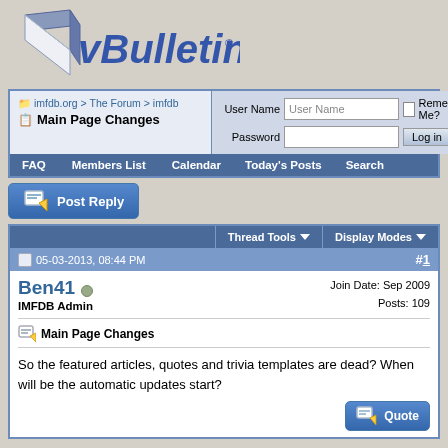[Figure (logo): vBulletin logo with 3D book/page icon and italic blue vBulletin text]
imfdb.org > The Forum > imfdb
Main Page Changes
User Name | Password | Remember Me? | Log in
FAQ   Members List   Calendar   Today's Posts   Search
Post Reply
Thread Tools   Display Modes
05-03-2013, 08:44 PM   #1
Ben41
IMFDB Admin
Join Date: Sep 2009
Posts: 109
Main Page Changes
So the featured articles, quotes and trivia templates are dead? When will be the automatic updates start?
Quote